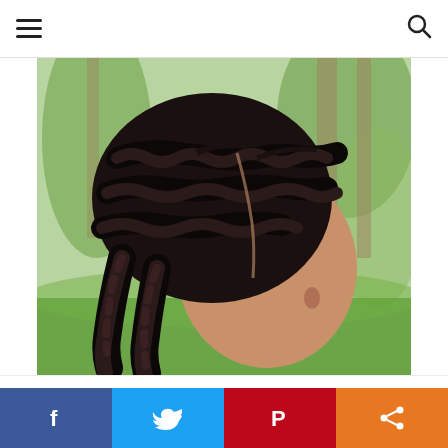Navigation bar with hamburger menu and search icon
[Figure (photo): Back view of a person with dark hair styled in large cornrow braids, photographed outdoors with green tropical trees in the background.]
This website uses cookies to improve your experience. We'll assume you're ok with this, but you can opt-out if you wish.
Social share bar: Facebook, Twitter, Pinterest, Share